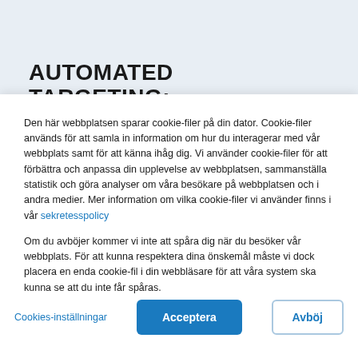AUTOMATED TARGETING: MANAGE UP THE FUNNEL
Den här webbplatsen sparar cookie-filer på din dator. Cookie-filer används för att samla in information om hur du interagerar med vår webbplats samt för att känna ihåg dig. Vi använder cookie-filer för att förbättra och anpassa din upplevelse av webbplatsen, sammanställa statistik och göra analyser om våra besökare på webbplatsen och i andra medier. Mer information om vilka cookie-filer vi använder finns i vår sekretesspolicy
Om du avböjer kommer vi inte att spåra dig när du besöker vår webbplats. För att kunna respektera dina önskemål måste vi dock placera en enda cookie-fil i din webbläsare för att våra system ska kunna se att du inte får spåras.
Cookies-inställningar
Acceptera
Avböj